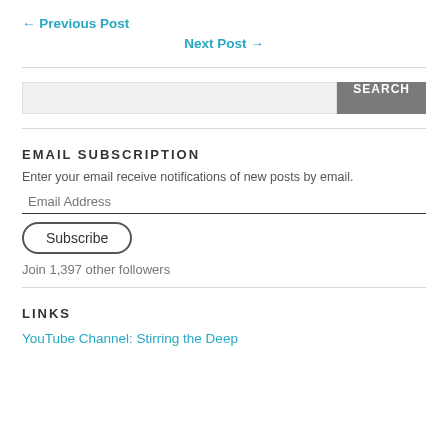← Previous Post
Next Post →
SEARCH
EMAIL SUBSCRIPTION
Enter your email receive notifications of new posts by email.
Email Address
Subscribe
Join 1,397 other followers
LINKS
YouTube Channel: Stirring the Deep